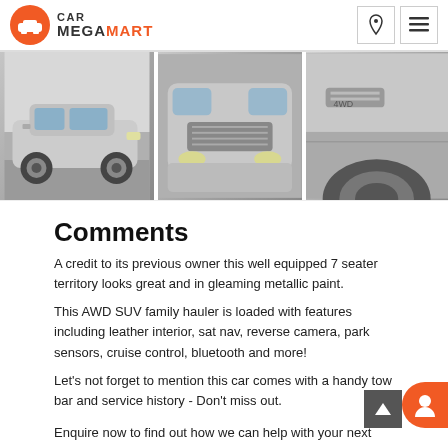CAR MEGAMART
[Figure (photo): Three photos of a silver Ford Territory SUV: full side view, front bumper/headlight close-up, and side panel/wheel close-up]
Comments
A credit to its previous owner this well equipped 7 seater territory looks great and in gleaming metallic paint.
This AWD SUV family hauler is loaded with features including leather interior, sat nav, reverse camera, park sensors, cruise control, bluetooth and more!
Let's not forget to mention this car comes with a handy tow bar and service history - Don't miss out.
Enquire now to find out how we can help with your next vehicle purchase.
We are part of large National Dealer Group across Melbourne &